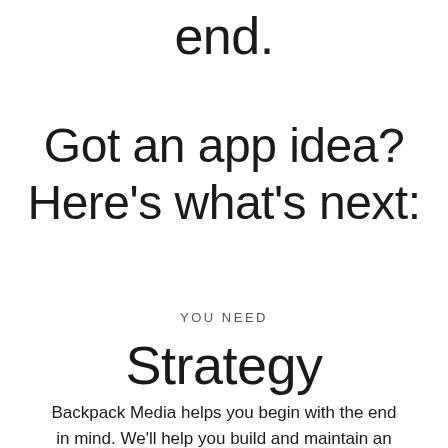end.
Got an app idea?
Here's what's next:
YOU NEED
Strategy
Backpack Media helps you begin with the end in mind. We'll help you build and maintain an app